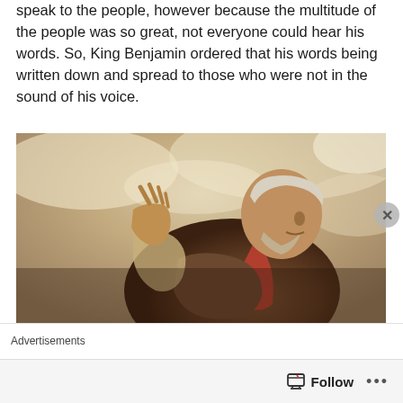speak to the people, however because the multitude of the people was so great, not everyone could hear his words. So, King Benjamin ordered that his words being written down and spread to those who were not in the sound of his voice.
[Figure (illustration): Oil painting of an elderly man with white hair and beard, dressed in robes, raising his hand as if speaking or preaching, with a dramatic cloudy sky background.]
Advertisements
Search, browse, and email